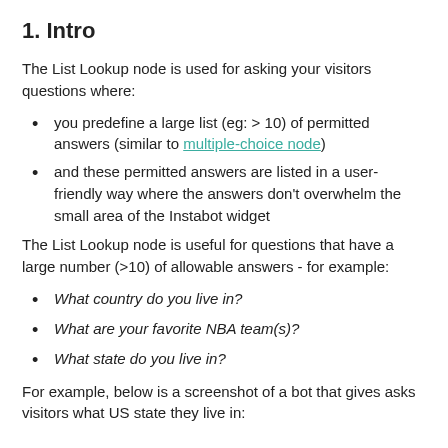1. Intro
The List Lookup node is used for asking your visitors questions where:
you predefine a large list (eg: > 10) of permitted answers (similar to multiple-choice node)
and these permitted answers are listed in a user-friendly way where the answers don't overwhelm the small area of the Instabot widget
The List Lookup node is useful for questions that have a large number (>10) of allowable answers - for example:
What country do you live in?
What are your favorite NBA team(s)?
What state do you live in?
For example, below is a screenshot of a bot that gives asks visitors what US state they live in: